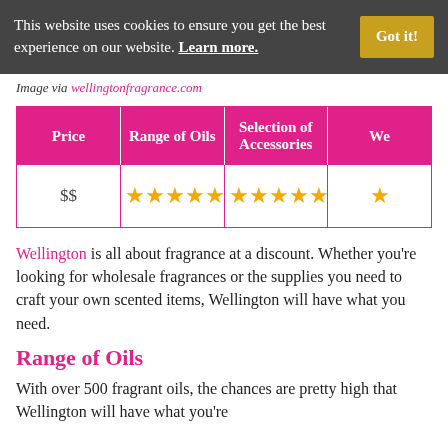This website uses cookies to ensure you get the best experience on our website. Learn more.
Image via wellingtonfragrance.com
| Price | Range of Oils | Selection of Accessories | We... |
| --- | --- | --- | --- |
| $$ | ★★★★★ | ★★★★★ | ★... |
Wellington is all about fragrance at a discount. Whether you're looking for wholesale fragrances or the supplies you need to craft your own scented items, Wellington will have what you need.
Range of Oils
With over 500 fragrant oils, the chances are pretty high that Wellington will have what you're